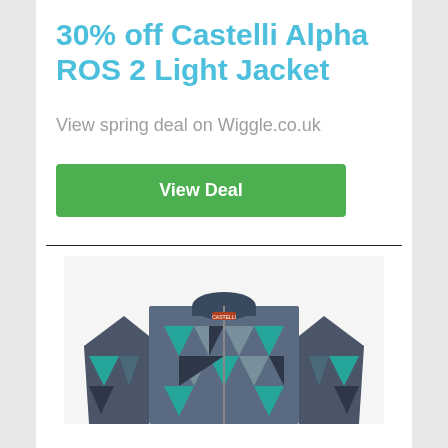30% off Castelli Alpha ROS 2 Light Jacket
View spring deal on Wiggle.co.uk
View Deal
[Figure (photo): Product photo of a Castelli cycling jacket with geometric triangular pattern in navy blue, grey, and teal colors, featuring a full-length zip and long sleeves]